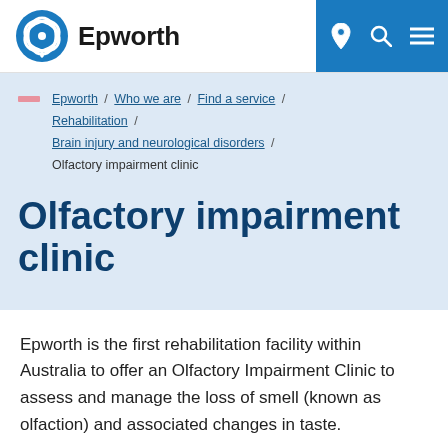Epworth
Epworth / Who we are / Find a service / Rehabilitation / Brain injury and neurological disorders / Olfactory impairment clinic
Olfactory impairment clinic
Epworth is the first rehabilitation facility within Australia to offer an Olfactory Impairment Clinic to assess and manage the loss of smell (known as olfaction) and associated changes in taste.